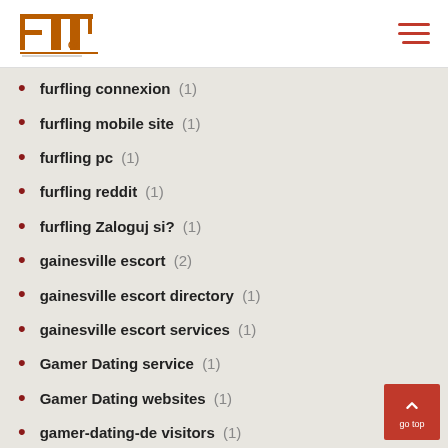INP logo and navigation
furfling connexion (1)
furfling mobile site (1)
furfling pc (1)
furfling reddit (1)
furfling Zaloguj si? (1)
gainesville escort (2)
gainesville escort directory (1)
gainesville escort services (1)
Gamer Dating service (1)
Gamer Dating websites (1)
gamer-dating-de visitors (1)